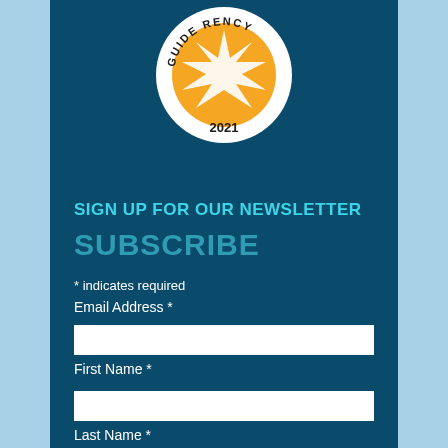[Figure (logo): Circular badge/seal with sunburst star in orange/yellow center, text reading 'GUIDE' and 'RENCY' around the rim, year '2021' at the bottom. Guidestar/Candid transparency badge.]
SIGN UP FOR OUR NEWSLETTER
SUBSCRIBE
* indicates required
Email Address *
First Name *
Last Name *